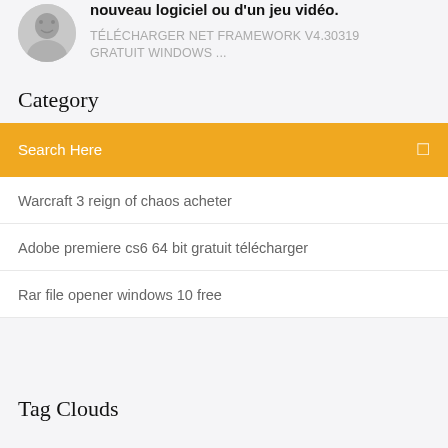nouveau logiciel ou d'un jeu vidéo.
TÉLÉCHARGER NET FRAMEWORK V4.30319 GRATUIT WINDOWS ...
Category
Search Here
Warcraft 3 reign of chaos acheter
Adobe premiere cs6 64 bit gratuit télécharger
Rar file opener windows 10 free
Tag Clouds